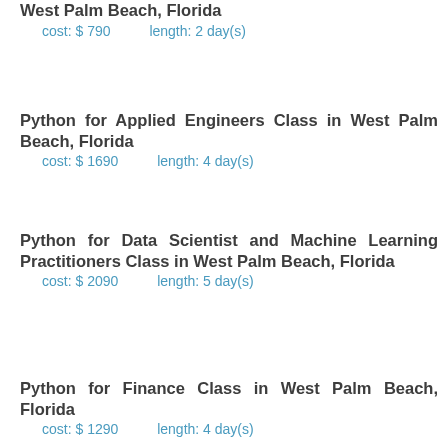West Palm Beach, Florida
cost: $ 790    length: 2 day(s)
Python for Applied Engineers Class in West Palm Beach, Florida
cost: $ 1690    length: 4 day(s)
Python for Data Scientist and Machine Learning Practitioners Class in West Palm Beach, Florida
cost: $ 2090    length: 5 day(s)
Python for Finance Class in West Palm Beach, Florida
cost: $ 1290    length: 4 day(s)